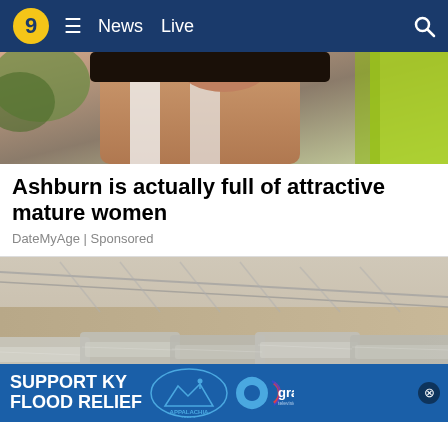9 ≡ News Live 🔍
[Figure (photo): Cropped photo of a woman's face and shoulders with another person in a bright yellow/green garment partially visible]
Ashburn is actually full of attractive mature women
DateMyAge | Sponsored
[Figure (photo): Indoor warehouse or garage with multiple large vehicles (SUVs/trucks) covered in plastic wrap, sitting in a row under a metal truss ceiling]
SUPPORT KY FLOOD RELIEF